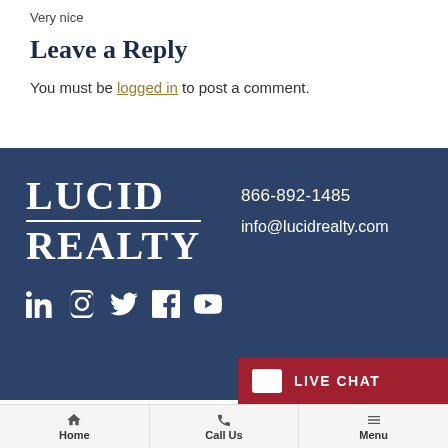Very nice
Leave a Reply
You must be logged in to post a comment.
[Figure (logo): Lucid Realty logo in white text on dark blue background, with phone number 866-892-1485 and email info@lucidrealty.com, and social media icons for LinkedIn, Instagram, Twitter, Facebook, YouTube]
LIVE CHAT
Home | Call Us | Menu